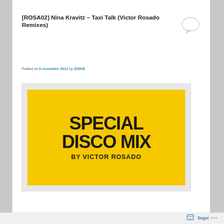[ROSA02] Nina Kravitz – Taxi Talk (Victor Rosado Remixes)
Posted on 6 novembre 2012 by 320KB
[Figure (illustration): Yellow card with bold black text reading SPECIAL DISCO MIX BY VICTOR ROSADO]
Segui